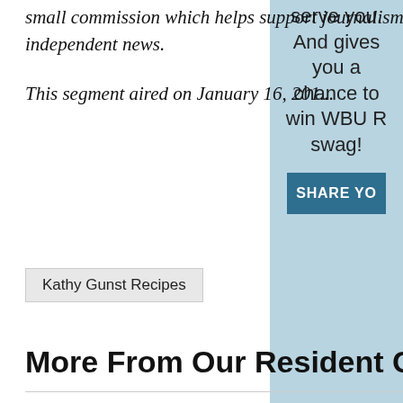small commission which helps support journalism and independent news.
This segment aired on January 16, 201...
Kathy Gunst Recipes
More From Our Resident Che...
Home Sick? Try These Recipes
Dried, Or Canned? Your Burning Bean Questions Answered, Plus 3 Recipes
Tahini Is Having A Moment. Here Are Recipes That Show Off Its Sweet And Savory Sides
serve you. And gives you a chance to win WBUR swag!
SHARE YO...
LISTEN LIVE BBC Newsday